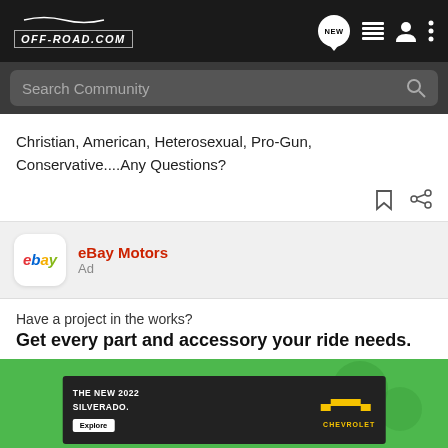OFF-ROAD.COM
Search Community
Christian, American, Heterosexual, Pro-Gun, Conservative....Any Questions?
eBay Motors
Ad
Have a project in the works?
Get every part and accessory your ride needs.
[Figure (screenshot): eBay Motors advertisement showing a Chevrolet Silverado 2022 truck on a dark background with 'THE NEW 2022 SILVERADO.' text, Explore button, and Chevrolet logo on a green background]